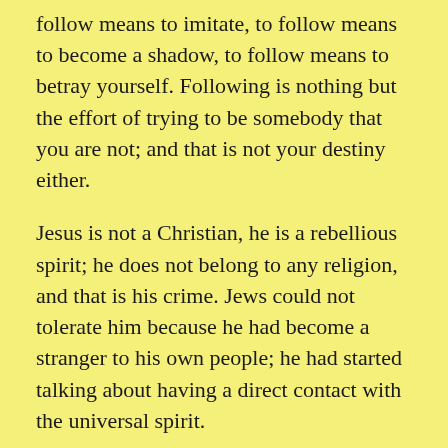follow means to imitate, to follow means to become a shadow, to follow means to betray yourself. Following is nothing but the effort of trying to be somebody that you are not; and that is not your destiny either.
Jesus is not a Christian, he is a rebellious spirit; he does not belong to any religion, and that is his crime. Jews could not tolerate him because he had become a stranger to his own people; he had started talking about having a direct contact with the universal spirit.
A religion is a marketplace thing. It is a kind of bureaucracy – you should go through the right channel. You are not even allowed to